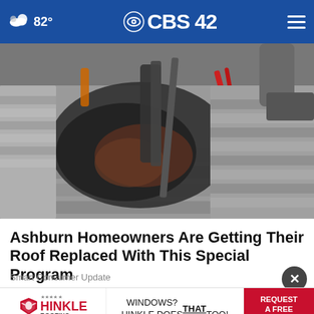82° CBS 42
[Figure (photo): Workers removing or replacing shingles on a damaged roof, showing torn-up roofing materials and workers' hands/tools on the roof surface.]
Ashburn Homeowners Are Getting Their Roof Replaced With This Special Program
Smart Consumer Update
[Figure (screenshot): Hinkle Roofing advertisement banner: 'WINDOWS? HINKLE DOES THAT TOO!' with a red REQUEST A FREE ESTIMATE button.]